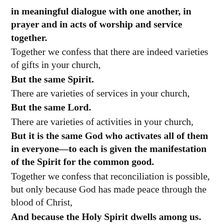in meaningful dialogue with one another, in prayer and in acts of worship and service together.
Together we confess that there are indeed varieties of gifts in your church,
But the same Spirit.
There are varieties of services in your church,
But the same Lord.
There are varieties of activities in your church,
But it is the same God who activates all of them in everyone—to each is given the manifestation of the Spirit for the common good.
Together we confess that reconciliation is possible, but only because God has made peace through the blood of Christ,
And because the Holy Spirit dwells among us.